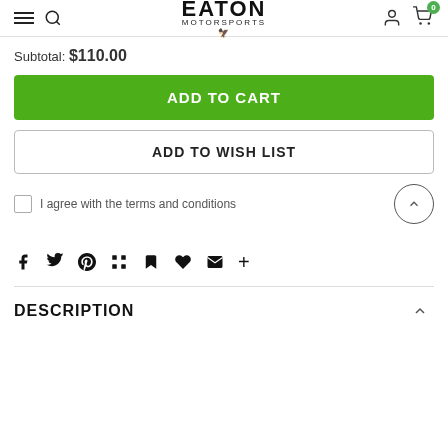Eaton Motorsports
Subtotal: $110.00
ADD TO CART
ADD TO WISH LIST
I agree with the terms and conditions
[Figure (other): Social share icons: Facebook, Twitter, Pinterest, Grid, Bookmark, Heart, Email, Plus]
DESCRIPTION